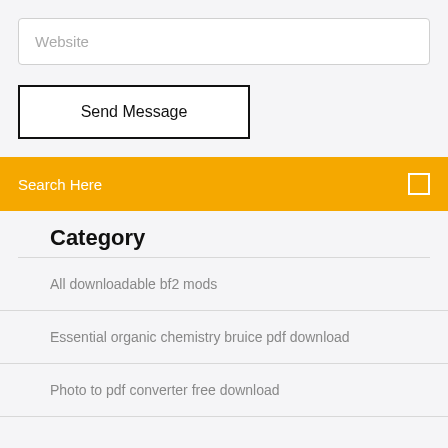Website
Send Message
Search Here
Category
All downloadable bf2 mods
Essential organic chemistry bruice pdf download
Photo to pdf converter free download